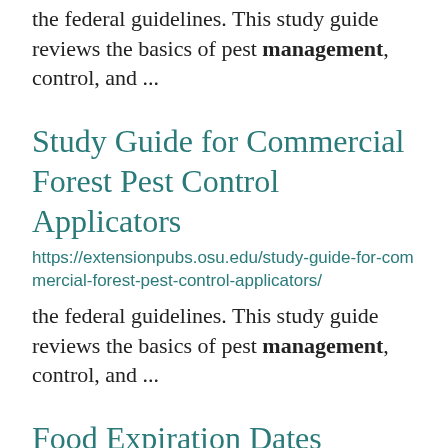the federal guidelines. This study guide reviews the basics of pest management, control, and ...
Study Guide for Commercial Forest Pest Control Applicators
https://extensionpubs.osu.edu/study-guide-for-commercial-forest-pest-control-applicators/
the federal guidelines. This study guide reviews the basics of pest management, control, and ...
Food Expiration Dates
https://extension.osu.edu/today/food-expiration-dates